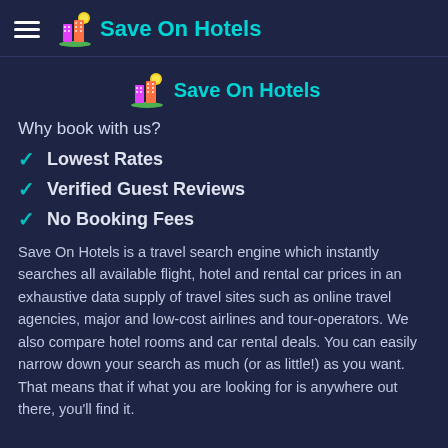Save On Hotels
[Figure (logo): Save On Hotels logo with building icons and green/teal styling, centered]
Why book with us?
Lowest Rates
Verified Guest Reviews
No Booking Fees
Save On Hotels is a travel search engine which instantly searches all available flight, hotel and rental car prices in an exhaustive data supply of travel sites such as online travel agencies, major and low-cost airlines and tour-operators. We also compare hotel rooms and car rental deals. You can easily narrow down your search as much (or as little!) as you want. That means that if what you are looking for is anywhere out there, you'll find it.